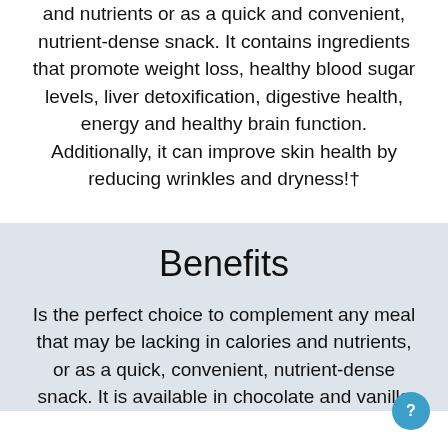and nutrients or as a quick and convenient, nutrient-dense snack. It contains ingredients that promote weight loss, healthy blood sugar levels, liver detoxification, digestive health, energy and healthy brain function. Additionally, it can improve skin health by reducing wrinkles and dryness!†
Benefits
Is the perfect choice to complement any meal that may be lacking in calories and nutrients, or as a quick, convenient, nutrient-dense snack. It is available in chocolate and vanilla flavors...